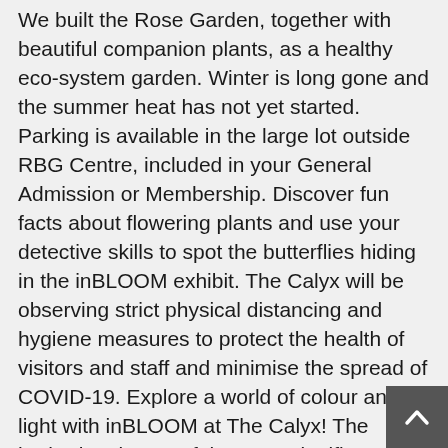We built the Rose Garden, together with beautiful companion plants, as a healthy eco-system garden. Winter is long gone and the summer heat has not yet started. Parking is available in the large lot outside RBG Centre, included in your General Admission or Membership. Discover fun facts about flowering plants and use your detective skills to spot the butterflies hiding in the inBLOOM exhibit. The Calyx will be observing strict physical distancing and hygiene measures to protect the health of visitors and staff and minimise the spread of COVID-19. Explore a world of colour and light with inBLOOM at The Calyx! The herbarium is one of the most significant botanical resources in the Southern Hemisphere and houses over 1.43 million plant specimens. The Garden is committed to protecting the health of our staff and visitors and due to the Northern Beaches COVID-19 cluster and the unfolding situation across Greater Sydney, The Calyx will be closed Saturday 19 December to Wednesday 6 January- reopening Thursday 7 January. Public transport recommended. Learn about our plants & ... Peak interest: Early May Flowering cherries (saukra) grace RBG's gardens with typically white or pink flowered blooms and have an ephemeral grace and
[Figure (other): Scroll-to-top button, dark grey square with white upward-pointing chevron arrow, positioned at bottom-right corner]